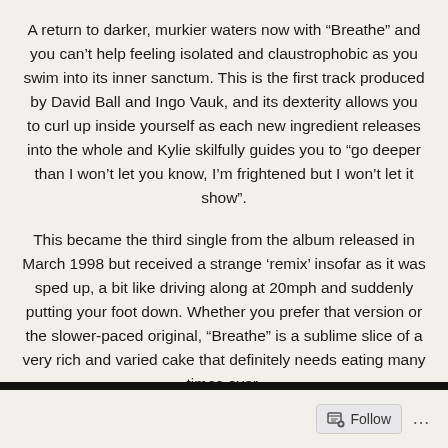A return to darker, murkier waters now with “Breathe” and you can’t help feeling isolated and claustrophobic as you swim into its inner sanctum. This is the first track produced by David Ball and Ingo Vauk, and its dexterity allows you to curl up inside yourself as each new ingredient releases into the whole and Kylie skilfully guides you to “go deeper than I won’t let you know, I’m frightened but I won’t let it show”.
This became the third single from the album released in March 1998 but received a strange ‘remix’ insofar as it was sped up, a bit like driving along at 20mph and suddenly putting your foot down. Whether you prefer that version or the slower-paced original, “Breathe” is a sublime slice of a very rich and varied cake that definitely needs eating many times over.
6. Say Hey